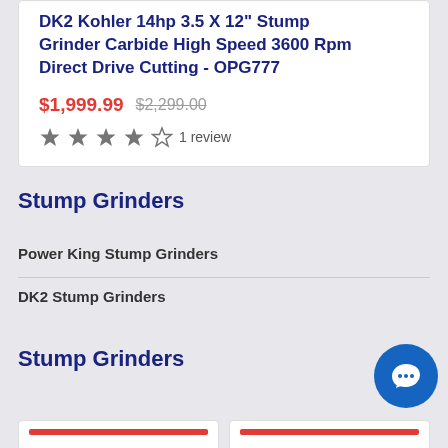DK2 Kohler 14hp 3.5 X 12" Stump Grinder Carbide High Speed 3600 Rpm Direct Drive Cutting - OPG777
$1,999.99  $2,299.00
★★★★☆ 1 review
Stump Grinders
Power King Stump Grinders
DK2 Stump Grinders
Stump Grinders